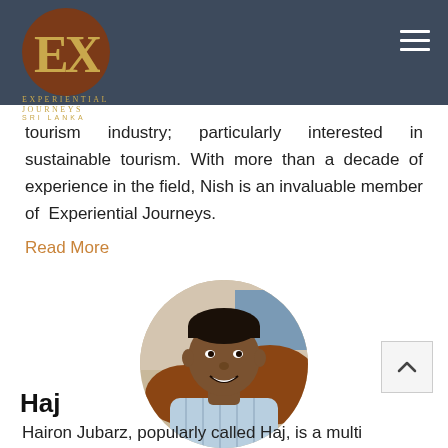Experiential Journeys Sri Lanka
tourism industry; particularly interested in sustainable tourism. With more than a decade of experience in the field, Nish is an invaluable member of  Experiential Journeys.
Read More
[Figure (photo): Circular portrait photo of a man smiling, wearing a light blue striped shirt, seated indoors.]
Haj
Hairon Jubarz, popularly called Haj, is a multi